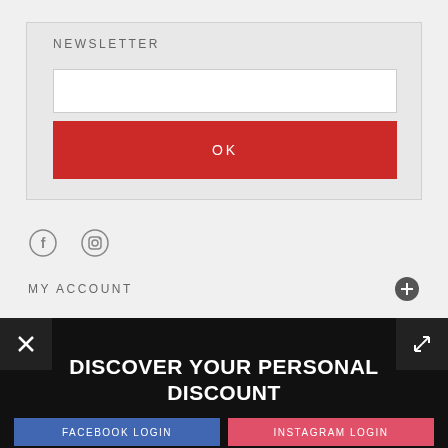NEWSLETTER
[Figure (screenshot): White text input field for newsletter email entry]
[Figure (screenshot): Red OK button for newsletter submission]
[Figure (screenshot): Facebook and Instagram social media icons (circle style)]
MY ACCOUNT
DISCOVER YOUR PERSONAL DISCOUNT
[Figure (screenshot): FACEBOOK LOGIN button (blue) and INSTAGRAM LOGIN button (pink-red) side by side at bottom]